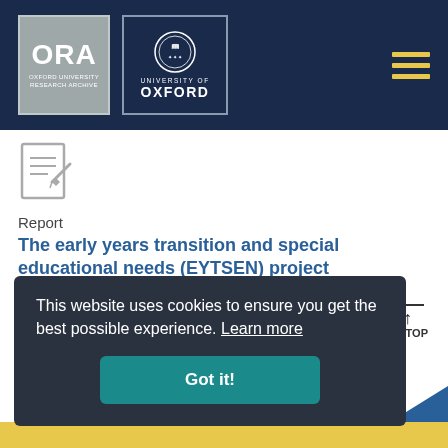[Figure (logo): ORA Oxford University Research Archive logo and University of Oxford crest logo in dark navy header bar]
[Figure (illustration): Document/report icon with pencil]
Report
The early years transition and special educational needs (EYTSEN) project
Sylva, K, Sammons, P, Taggart, B, et al.  |  2003-06-01
[Figure (infographic): Open access icon, peer review checkmark icon, and preprint P icon]
This website uses cookies to ensure you get the best possible experience.  Learn more
Got it!